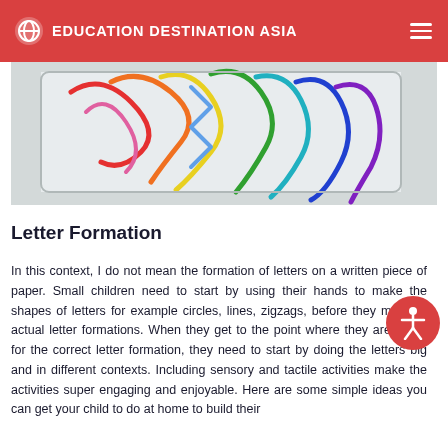EDUCATION DESTINATION ASIA
[Figure (photo): Close-up photo of colorful pipe cleaners or chenille stems arranged on a white tray, showing various bright colors including red, blue, green, yellow, orange, and purple, forming zigzag and curved shapes.]
Letter Formation
In this context, I do not mean the formation of letters on a written piece of paper. Small children need to start by using their hands to make the shapes of letters for example circles, lines, zigzags, before they move to actual letter formations. When they get to the point where they are ready for the correct letter formation, they need to start by doing the letters big and in different contexts. Including sensory and tactile activities make the activities super engaging and enjoyable. Here are some simple ideas you can get your child to do at home to build their